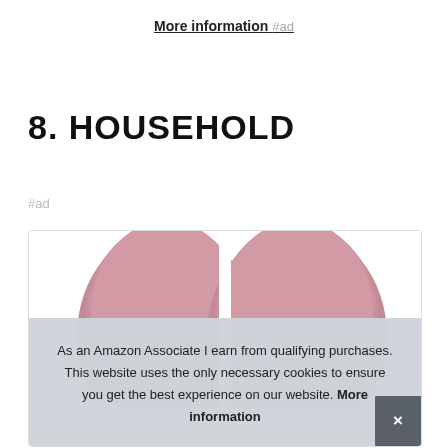More information #ad
8. HOUSEHOLD
#ad
[Figure (photo): Two dusty rose/mauve colored foam slide sandals/slippers viewed from above, showing the toe strap with ventilation slots]
As an Amazon Associate I earn from qualifying purchases. This website uses the only necessary cookies to ensure you get the best experience on our website. More information